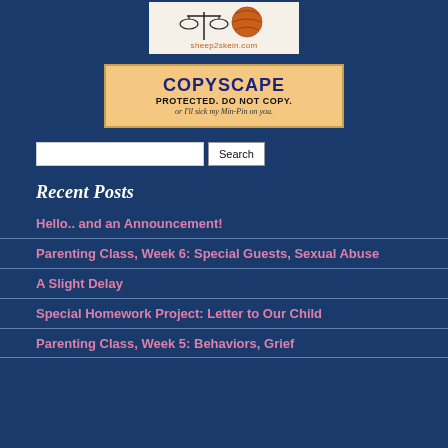[Figure (logo): sheep2skein.com logo with scales and yarn ball graphic]
[Figure (other): Copyscape Protected. Do Not Copy. or I'll sick my Min-Pin on you. badge with orange/tan background]
Search
Recent Posts
Hello.. and an Announcement!
Parenting Class, Week 6: Special Guests, Sexual Abuse
A Slight Delay
Special Homework Project: Letter to Our Child
Parenting Class, Week 5: Behaviors, Grief